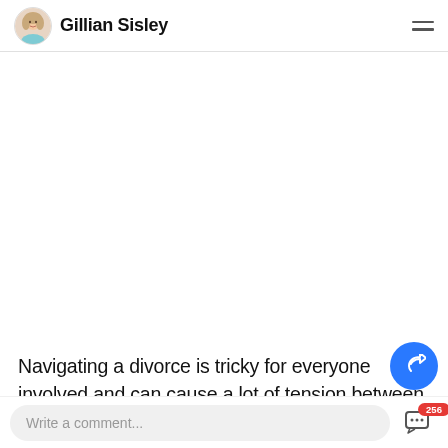Gillian Sisley
[Figure (photo): Large article hero image area (blank/white space in screenshot)]
Navigating a divorce is tricky for everyone involved and can cause a lot of tension between ex-sp...